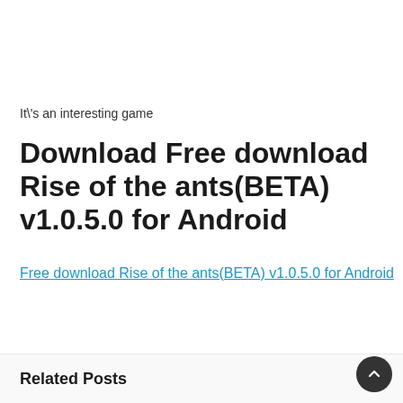It\'s an interesting game
Download Free download Rise of the ants(BETA) v1.0.5.0 for Android
Free download Rise of the ants(BETA) v1.0.5.0 for Android
Rise of the ants
Related Posts